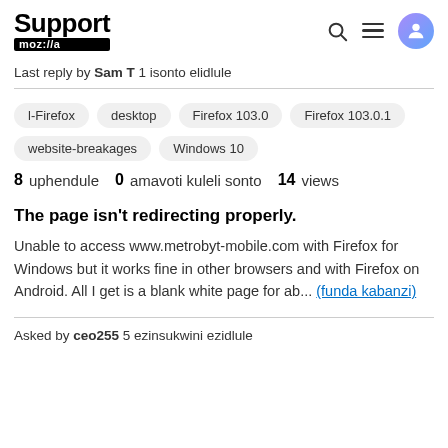Support moz://a
Last reply by Sam T 1 isonto elidlule
l-Firefox
desktop
Firefox 103.0
Firefox 103.0.1
website-breakages
Windows 10
8 uphendule  0 amavoti kuleli sonto  14 views
The page isn't redirecting properly.
Unable to access www.metrobyt-mobile.com with Firefox for Windows but it works fine in other browsers and with Firefox on Android. All I get is a blank white page for ab... (funda kabanzi)
Asked by ceo255 5 ezinsukwini ezidlule